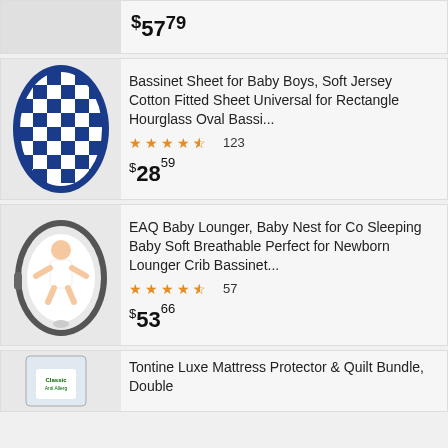[Figure (photo): Top partial product card showing price $57.79]
$57.79
[Figure (photo): Bassinet sheet with blue and white checkered pattern with bears]
Bassinet Sheet for Baby Boys, Soft Jersey Cotton Fitted Sheet Universal for Rectangle Hourglass Oval Bassi...
4.5 stars 123
$28.59
[Figure (photo): Baby lounger with gray elephant pattern, baby lying inside]
EAQ Baby Lounger, Baby Nest for Co Sleeping Baby Soft Breathable Perfect for Newborn Lounger Crib Bassinet...
4.5 stars 57
$53.66
[Figure (photo): Tontine Classic Anti Allergy product packaging]
Tontine Luxe Mattress Protector & Quilt Bundle, Double